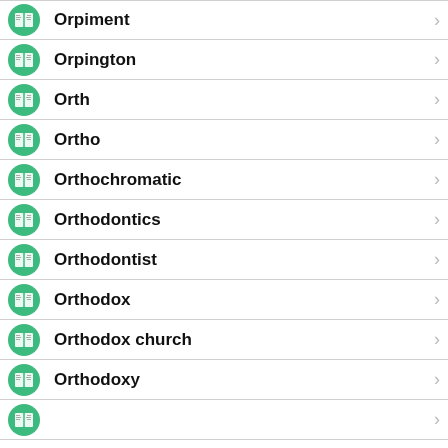Orpiment
Orpington
Orth
Ortho
Orthochromatic
Orthodontics
Orthodontist
Orthodox
Orthodox church
Orthodoxy